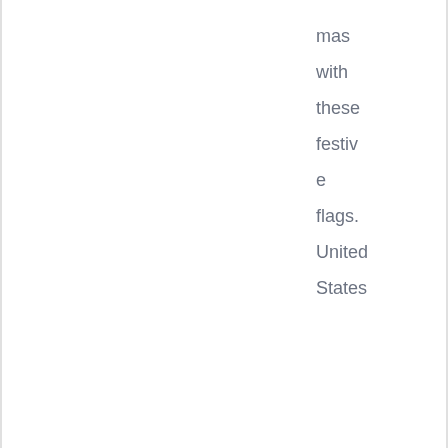mas with these festive flags. United States
flag store also carries wall mount flag poles
[Figure (photo): Broken image placeholder with alt text: Keep Christ Banner Flag]